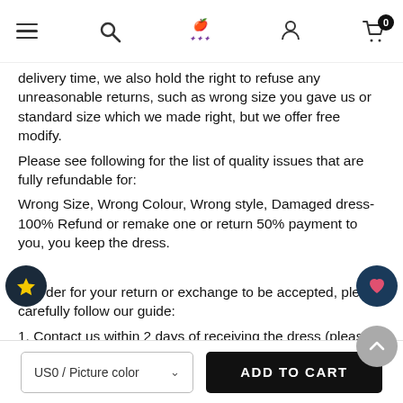Navigation bar with hamburger menu, search, logo, user icon, and cart (0)
delivery time, we also hold the right to refuse any unreasonable returns, such as wrong size you gave us or standard size which we made right, but we offer free modify.
Please see following for the list of quality issues that are fully refundable for:
Wrong Size, Wrong Colour, Wrong style, Damaged dress- 100% Refund or remake one or return 50% payment to you, you keep the dress.

In order for your return or exchange to be accepted, please carefully follow our guide:
1. Contact us within 2 days of receiving the dress (please let us know if you have some exceptional case in advance)
2. Provide us with photos of the dress, to show evidence of damage or bad quality, this also applies for the size, or incorrect style and colour etc.
3. The returned item must be in perfect condition (as new), you can try the dress on, but be sure not to stretch it or make any dirty marks,
US0 / Picture color   ADD TO CART